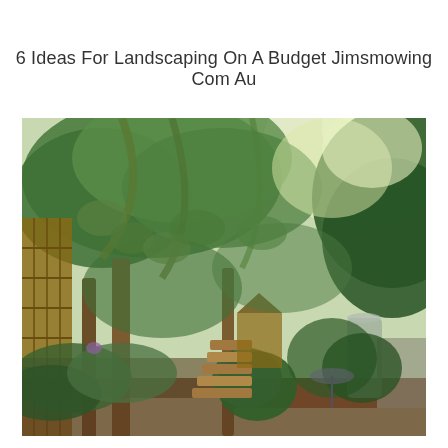6 Ideas For Landscaping On A Budget Jimsmowing Com Au
[Figure (photo): A lush backyard garden with tall leafy green trees forming a canopy overhead, a wooden fence on the left, a narrow winding wooden pathway/steps leading through dense planted garden beds, a small gazebo or garden structure visible in the background, and a metal water tank on the right side. The scene is bright and green with dappled sunlight.]